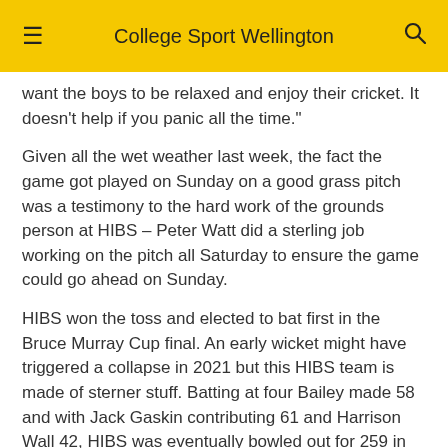College Sport Wellington
want the boys to be relaxed and enjoy their cricket. It doesn't help if you panic all the time."
Given all the wet weather last week, the fact the game got played on Sunday on a good grass pitch was a testimony to the hard work of the grounds person at HIBS – Peter Watt did a sterling job working on the pitch all Saturday to ensure the game could go ahead on Sunday.
HIBS won the toss and elected to bat first in the Bruce Murray Cup final. An early wicket might have triggered a collapse in 2021 but this HIBS team is made of sterner stuff. Batting at four Bailey made 58 and with Jack Gaskin contributing 61 and Harrison Wall 42, HIBS was eventually bowled out for 259 in the 50th over.
"It was a good pitch and we were happy with that s… Unfortunately, we didn't start well with the ball but our…